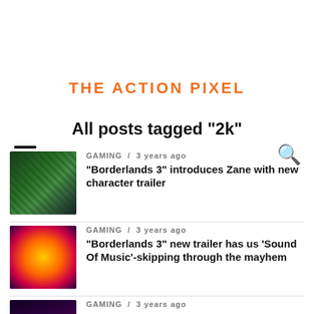THE ACTION PIXEL
All posts tagged "2k"
GAMING / 3 years ago
“Borderlands 3” introduces Zane with new character trailer
GAMING / 3 years ago
“Borderlands 3” new trailer has us ‘Sound Of Music’-skipping through the mayhem
GAMING / 3 years ago
“Borderlands 3” E3 trailer brings all the mayhem